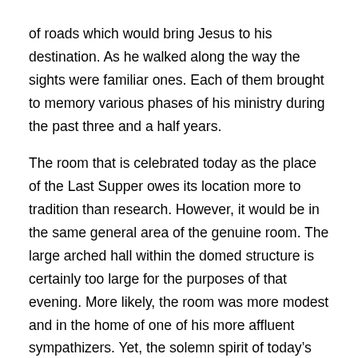of roads which would bring Jesus to his destination. As he walked along the way the sights were familiar ones. Each of them brought to memory various phases of his ministry during the past three and a half years.
The room that is celebrated today as the place of the Last Supper owes its location more to tradition than research. However, it would be in the same general area of the genuine room. The large arched hall within the domed structure is certainly too large for the purposes of that evening. More likely, the room was more modest and in the home of one of his more affluent sympathizers. Yet, the solemn spirit of today’s “room” leaves a hallowed feeling in the heart of the Christian.
The Needle’s Eye
Not far from this room is a fork in the road. One street makes a sharp turn to the south, while the other fork proceeds directly